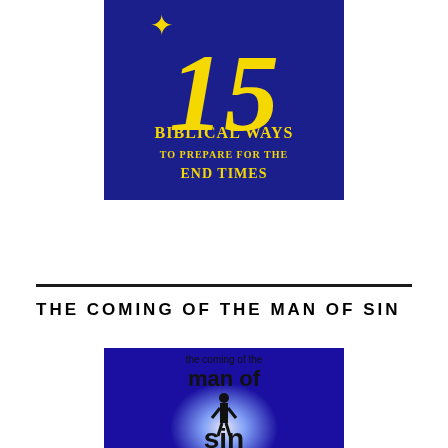[Figure (illustration): Dark blue square image showing the number '15' in large yellow stylized font, below which reads 'Biblical Ways To Prepare for the End Times' in yellow text on a dark navy/blue background.]
THE COMING OF THE MAN OF SIN
[Figure (illustration): Blue-toned image showing text 'the coming of the man of sin' with a silhouette of a person standing in a bright light, dark dramatic atmosphere.]